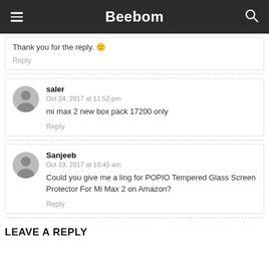Beebom
Thank you for the reply. 🙂
Reply
saler
Oct 24, 2017 at 11:52 pm
mi max 2 new box pack 17200 only
Reply
Sanjeeb
Oct 23, 2017 at 10:45 am
Could you give me a ling for POPIO Tempered Glass Screen Protector For Mi Max 2 on Amazon?
Reply
LEAVE A REPLY